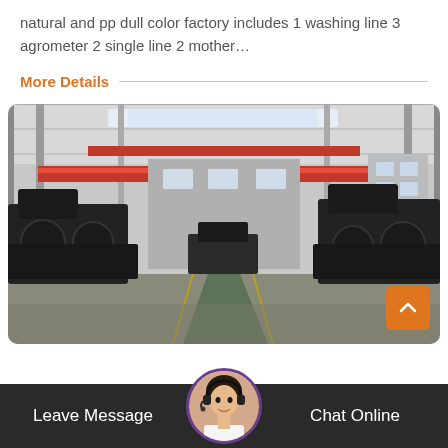natural and pp dull color factory includes 1 washing line 3 agrometer 2 single line 2 mother…
More Details
[Figure (photo): Interior of a large factory/manufacturing facility with overhead red crane beams, industrial equipment and machinery on both sides, and a wide central aisle with a green-painted floor line.]
Leave Message
Chat Online